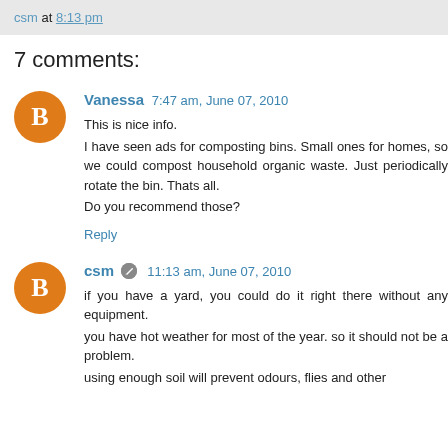csm at 8:13 pm
7 comments:
Vanessa 7:47 am, June 07, 2010
This is nice info.
I have seen ads for composting bins. Small ones for homes, so we could compost household organic waste. Just periodically rotate the bin. Thats all.
Do you recommend those?
Reply
csm 11:13 am, June 07, 2010
if you have a yard, you could do it right there without any equipment.
you have hot weather for most of the year. so it should not be a problem.
using enough soil will prevent odours, flies and other